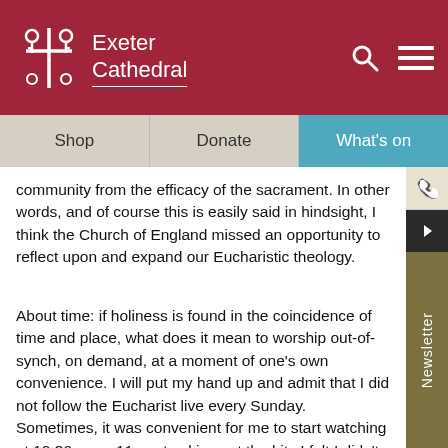Exeter Cathedral
Shop   Donate   What's on
community from the efficacy of the sacrament. In other words, and of course this is easily said in hindsight, I think the Church of England missed an opportunity to reflect upon and expand our Eucharistic theology.
About time: if holiness is found in the coincidence of time and place, what does it mean to worship out-of-synch, on demand, at a moment of one's own convenience. I will put my hand up and admit that I did not follow the Eucharist live every Sunday. Sometimes, it was convenient for me to start watching at 10.30am or 11am, to skip past the bits I felt I didn't need to hear, and to listen only to music and the sermon. What of our 8am Communions? Because they